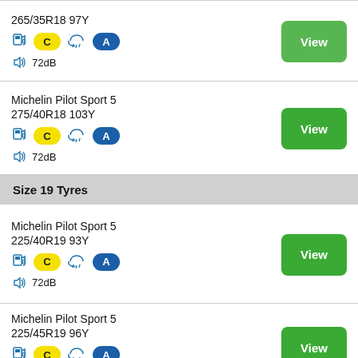265/35R18 97Y
C | rain | A | 72dB
Michelin Pilot Sport 5
275/40R18 103Y
C | rain | A | 72dB
Size 19 Tyres
Michelin Pilot Sport 5
225/40R19 93Y
C | rain | A | 72dB
Michelin Pilot Sport 5
225/45R19 96Y
C | rain | A | 72dB